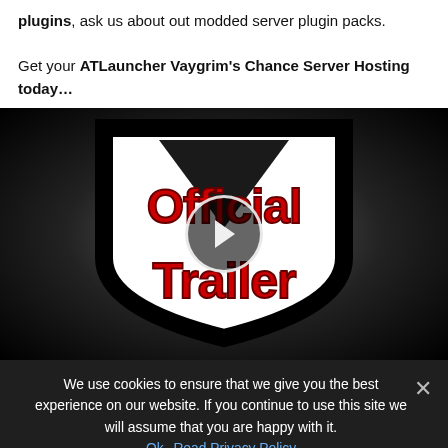plugins, ask us about out modded server plugin packs.

Get your ATLauncher Vaygrim's Chance Server Hosting today…
[Figure (screenshot): Video thumbnail showing 'Official Trailer' text in red on a black/white shield logo, with a circular play button overlay in the center. Dark vignette background.]
We use cookies to ensure that we give you the best experience on our website. If you continue to use this site we will assume that you are happy with it.
Ok  Read Privacy Policy
The adventure never ends, choose from 500+ modpacks in our library.